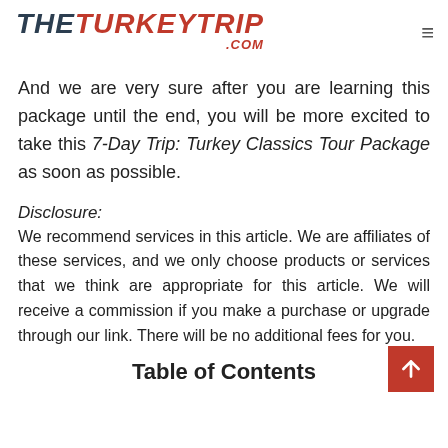THETURKEYTRIP.COM
And we are very sure after you are learning this package until the end, you will be more excited to take this 7-Day Trip: Turkey Classics Tour Package as soon as possible.
Disclosure:
We recommend services in this article. We are affiliates of these services, and we only choose products or services that we think are appropriate for this article. We will receive a commission if you make a purchase or upgrade through our link. There will be no additional fees for you.
Table of Contents